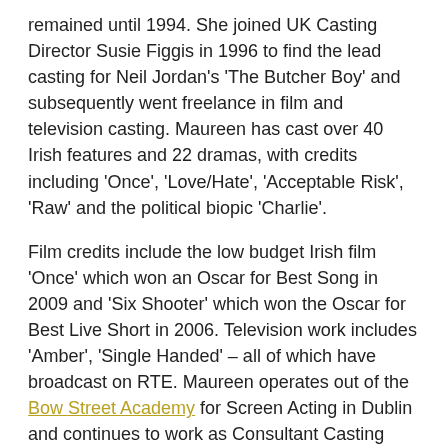remained until 1994. She joined UK Casting Director Susie Figgis in 1996 to find the lead casting for Neil Jordan's 'The Butcher Boy' and subsequently went freelance in film and television casting. Maureen has cast over 40 Irish features and 22 dramas, with credits including 'Once', 'Love/Hate', 'Acceptable Risk', 'Raw' and the political biopic 'Charlie'.
Film credits include the low budget Irish film 'Once' which won an Oscar for Best Song in 2009 and 'Six Shooter' which won the Oscar for Best Live Short in 2006. Television work includes 'Amber', 'Single Handed' – all of which have broadcast on RTE. Maureen operates out of the Bow Street Academy for Screen Acting in Dublin and continues to work as Consultant Casting Director with Druid Theatre Company.